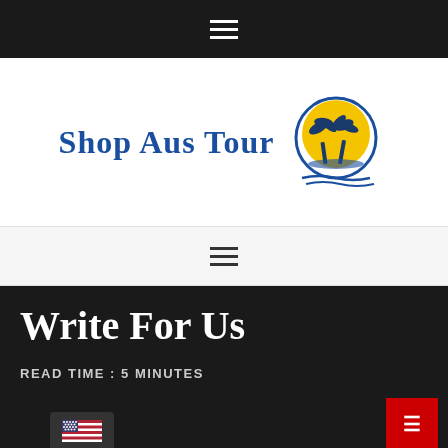Navigation menu icon (hamburger)
[Figure (logo): Shop Aus Tour logo with blue text and circular palm tree / sunset graphic]
Navigation menu icon (hamburger)
Write For Us
READ TIME : 5 MINUTES